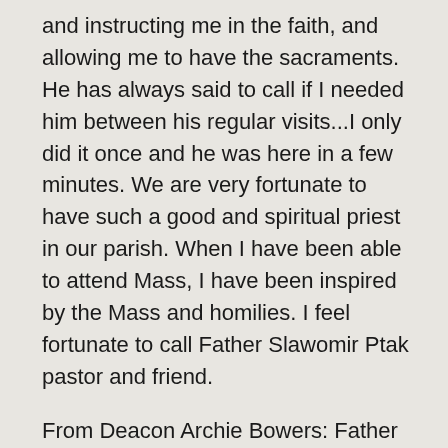and instructing me in the faith, and allowing me to have the sacraments. He has always said to call if I needed him between his regular visits...I only did it once and he was here in a few minutes. We are very fortunate to have such a good and spiritual priest in our parish. When I have been able to attend Mass, I have been inspired by the Mass and homilies. I feel fortunate to call Father Slawomir Ptak pastor and friend.
From Deacon Archie Bowers: Father Slawomir Ptak is the administrator for the parishes of Hamilton County, St. Clement of Rome, St. John Nepomucene and St. John the Baptist. He's not only my priest, but my mentor, and my good friend. One of the best attributes about Fr. Ptak is how he excels in the Liturgy of the Mass. I know learning from Fr. Ptak, when on the deacon at Mass with Bishop Brayton...